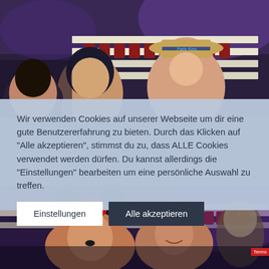[Figure (photo): Indoor event hall with long white tables, red chairs, brick wall with purple lighting. Two young people in foreground, one wearing a straw hat.]
Wir verwenden Cookies auf unserer Webseite um dir eine gute Benutzererfahrung zu bieten. Durch das Klicken auf "Alle akzeptieren", stimmst du zu, dass ALLE Cookies verwendet werden dürfen. Du kannst allerdings die "Einstellungen" bearbeiten um eine persönliche Auswahl zu treffen.
[Figure (photo): Same indoor event hall. Three children in costume in foreground - one wearing Minnie Mouse ears with red polka dot bow, another with mouse ears. Long white tables and red chairs in background with purple lighting.]